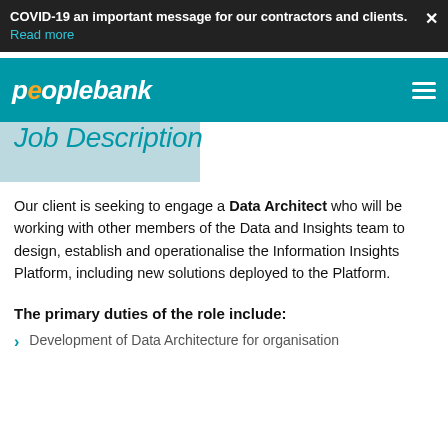COVID-19 an important message for our contractors and clients. Read more
peoplebank
Job Description
Our client is seeking to engage a Data Architect who will be working with other members of the Data and Insights team to design, establish and operationalise the Information Insights Platform, including new solutions deployed to the Platform.
The primary duties of the role include:
Development of Data Architecture for organisation